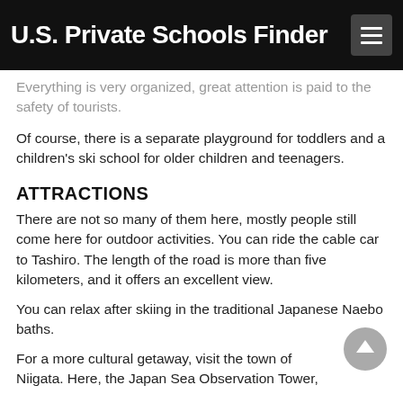U.S. Private Schools Finder
Everything is very organized, great attention is paid to the safety of tourists.
Of course, there is a separate playground for toddlers and a children's ski school for older children and teenagers.
ATTRACTIONS
There are not so many of them here, mostly people still come here for outdoor activities. You can ride the cable car to Tashiro. The length of the road is more than five kilometers, and it offers an excellent view.
You can relax after skiing in the traditional Japanese Naebo baths.
For a more cultural getaway, visit the town of Niigata. Here, the Japan Sea Observation Tower,